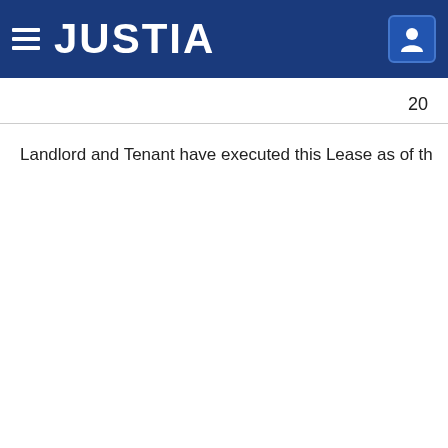JUSTIA
20
Landlord and Tenant have executed this Lease as of th